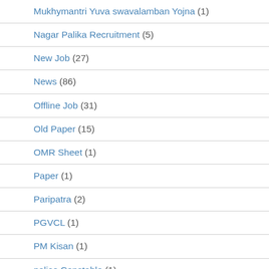Mukhymantri Yuva swavalamban Yojna (1)
Nagar Palika Recruitment (5)
New Job (27)
News (86)
Offline Job (31)
Old Paper (15)
OMR Sheet (1)
Paper (1)
Paripatra (2)
PGVCL (1)
PM Kisan (1)
police Constable (1)
Questions Paper (1)
Railway Jobs (8)
Railway recruitment (8)